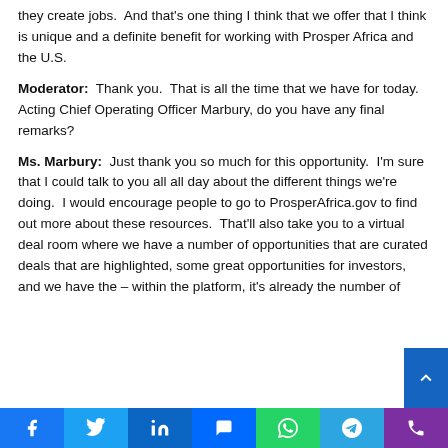they create jobs.  And that's one thing I think that we offer that I think is unique and a definite benefit for working with Prosper Africa and the U.S.
Moderator:  Thank you.  That is all the time that we have for today.  Acting Chief Operating Officer Marbury, do you have any final remarks?
Ms. Marbury:  Just thank you so much for this opportunity.  I'm sure that I could talk to you all all day about the different things we're doing.  I would encourage people to go to ProsperAfrica.gov to find out more about these resources.  That'll also take you to a virtual deal room where we have a number of opportunities that are curated deals that are highlighted, some great opportunities for investors, and we have the – within the platform, it's already the number of